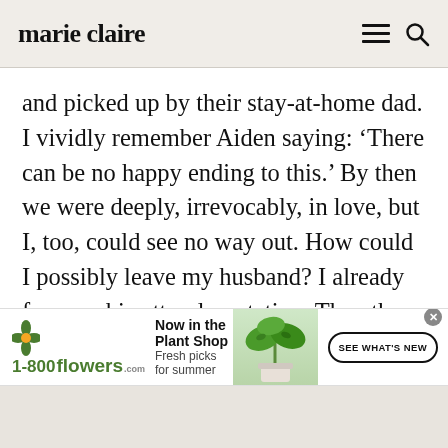marie claire
and picked up by their stay-at-home dad. I vividly remember Aiden saying: ‘There can be no happy ending to this.’ By then we were deeply, irrevocably, in love, but I, too, could see no way out. How could I possibly leave my husband? I already foresaw his utter devastation. Then there were the children. When would divorce be bearable for them?
[Figure (other): 1-800-flowers.com advertisement banner. Shows the 1-800-flowers logo in green, headline 'Now in the Plant Shop', subtext 'Fresh picks for summer', a photo of a potted monstera plant, and a 'SEE WHAT'S NEW' call-to-action button.]